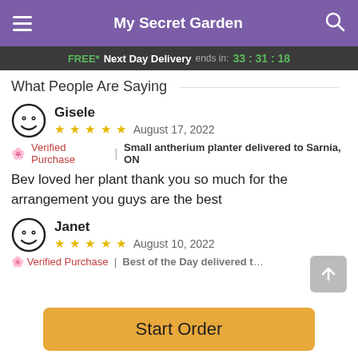My Secret Garden
FREE* Next Day Delivery ends in: 33:31:18
What People Are Saying
Gisele — ★★★★★ August 17, 2022 — Verified Purchase | Small antherium planter delivered to Sarnia, ON — Bev loved her plant thank you so much for the arrangement you guys are the best
Janet — ★★★★★ August 10, 2022 — Verified Purchase | Best of the Day delivered to Comlachie, ON
Start Order